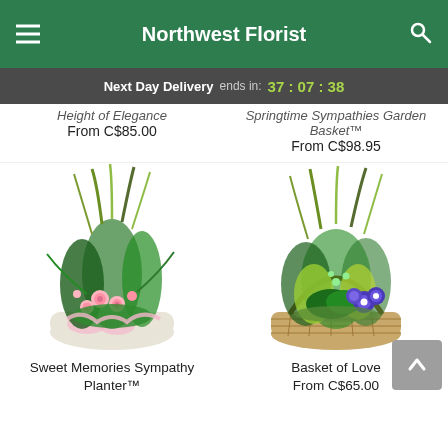Northwest Florist
Next Day Delivery ends in: 37 : 07 : 38
Height of Elegance From C$85.00
Springtime Sympathies Garden Basket™ From C$98.95
[Figure (photo): Sweet Memories Sympathy Planter floral arrangement in white bowl with pink roses and greenery]
Sweet Memories Sympathy Planter™
[Figure (photo): Basket of Love garden basket with purple flowers and mixed greenery in woven basket]
Basket of Love From C$65.00